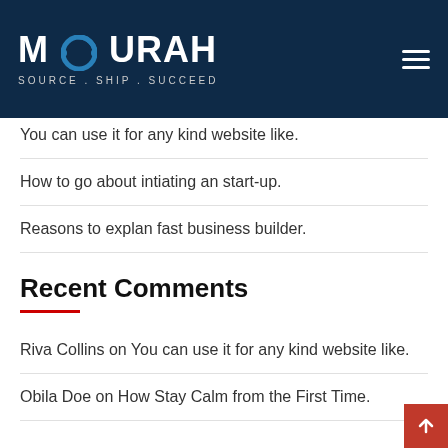MOURAH — SOURCE . SHIP . SUCCEED
You can use it for any kind website like.
How to go about intiating an start-up.
Reasons to explan fast business builder.
Recent Comments
Riva Collins on You can use it for any kind website like.
Obila Doe on How Stay Calm from the First Time.